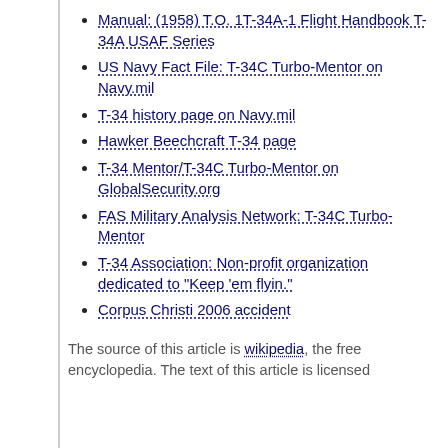Manual: (1958) T.O. 1T-34A-1 Flight Handbook T-34A USAF Series
US Navy Fact File: T-34C Turbo-Mentor on Navy.mil
T-34 history page on Navy.mil
Hawker Beechcraft T-34 page
T-34 Mentor/T-34C Turbo-Mentor on GlobalSecurity.org
FAS Military Analysis Network: T-34C Turbo-Mentor
T-34 Association: Non-profit organization dedicated to "Keep 'em flyin."
Corpus Christi 2006 accident
The source of this article is wikipedia, the free encyclopedia. The text of this article is licensed